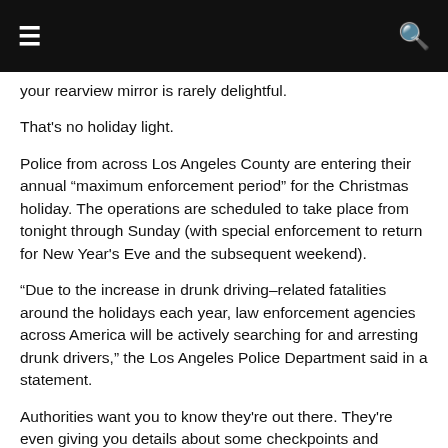Navigation header with menu and search icons
your rearview mirror is rarely delightful.
That's no holiday light.
Police from across Los Angeles County are entering their annual "maximum enforcement period" for the Christmas holiday. The operations are scheduled to take place from tonight through Sunday (with special enforcement to return for New Year's Eve and the subsequent weekend).
“Due to the increase in drunk driving–related fatalities around the holidays each year, law enforcement agencies across America will be actively searching for and arresting drunk drivers,” the Los Angeles Police Department said in a statement.
Authorities want you to know they're out there. They're even giving you details about some checkpoints and special patrols. The idea is that if you know about them, maybe you won't get behind the wheel after one too many. Maybe this will save lives.
Here's the info: